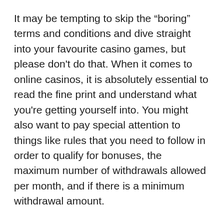It may be tempting to skip the “boring” terms and conditions and dive straight into your favourite casino games, but please don’t do that. When it comes to online casinos, it is absolutely essential to read the fine print and understand what you’re getting yourself into. You might also want to pay special attention to things like rules that you need to follow in order to qualify for bonuses, the maximum number of withdrawals allowed per month, and if there is a minimum withdrawal amount.
Understanding the rules right from the start will prevent nasty surprises later on and allow you to have a better online gambling experience!
7. The house always wins
Bear in mind that the house always wins because